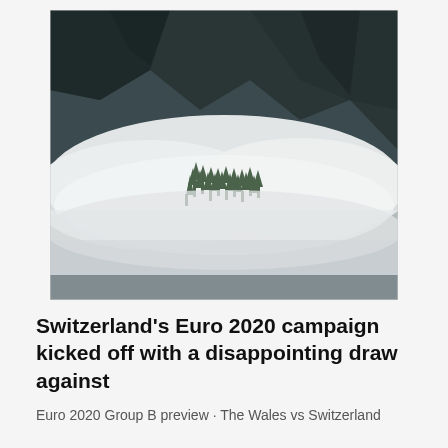[Figure (photo): A misty alpine landscape showing conifer trees partially obscured by low-lying clouds or fog, with dark rocky mountains in the background. The scene is moody and atmospheric in muted grey-green tones.]
Switzerland's Euro 2020 campaign kicked off with a disappointing draw against
Euro 2020 Group B preview · The Wales vs Switzerland